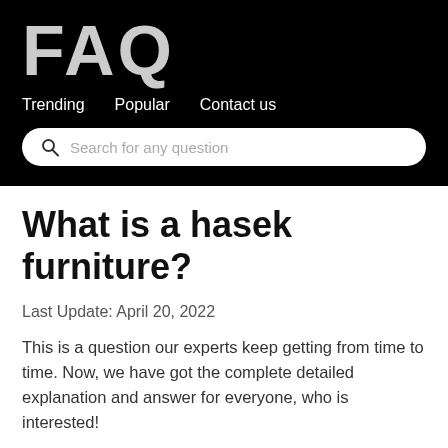FAQ
Trending   Popular   Contact us
Search for any question
What is a hasek furniture?
Last Update: April 20, 2022
This is a question our experts keep getting from time to time. Now, we have got the complete detailed explanation and answer for everyone, who is interested!